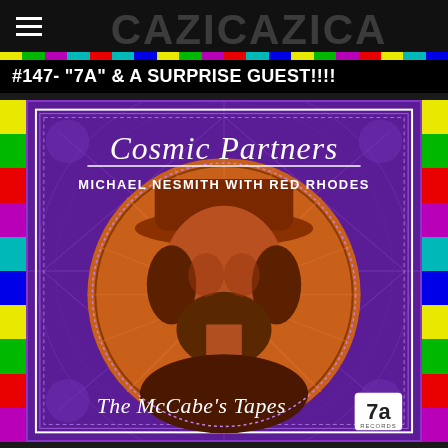≡ [CAZICAZ logo/header]
#147- "7A" & A SURPRISE GUEST!!!!
[Figure (illustration): Album cover for 'Cosmic Partners' by Michael Nesmith with Red Rhodes — The McCabe's Tapes. Purple background with paisley pattern, large orange-tinted circular portrait of a bearded man wearing a wide-brim hat, decorative mandala/sunburst designs, '7a Records' logo in bottom right corner. Album title in white script at top, artist name in white serif text below, subtitle 'The McCabe's Tapes' in script at bottom.]